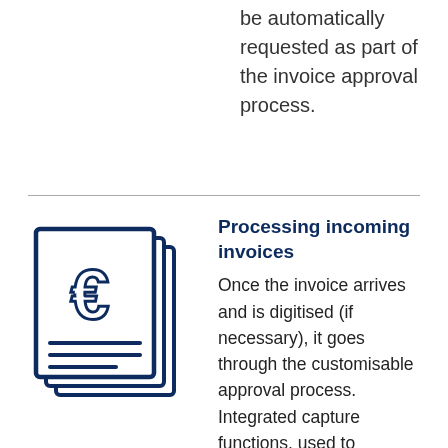be automatically requested as part of the invoice approval process.
[Figure (illustration): Icon showing stacked invoice documents with a euro sign and horizontal lines representing text, drawn in dark navy blue outline style.]
Processing incoming invoices
Once the invoice arrives and is digitised (if necessary), it goes through the customisable approval process. Integrated capture functions, used to automatically extract header and line item data from the invoice and compare it against existing